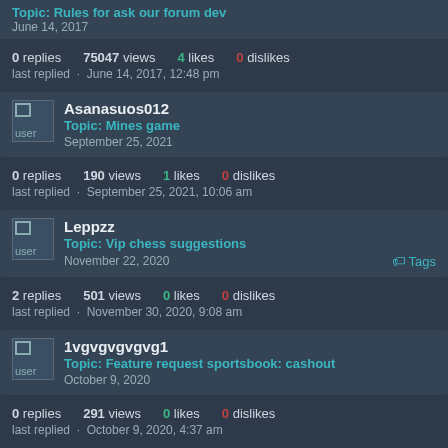Topic: Rules for ask our forum dev
June 14, 2017
0 replies  75047 views  4 likes  0 dislikes
last replied - June 14, 2017, 12:48 pm
Asanasuos012
Topic: Mines game
September 25, 2021
0 replies  190 views  1 likes  0 dislikes
last replied - September 25, 2021, 10:06 am
Leppzz
Topic: Vip chess suggestions
November 22, 2020
2 replies  501 views  0 likes  0 dislikes
last replied - November 30, 2020, 9:08 am
1vgvgvgvgvg1
Topic: Feature request sportsbook: cashout
October 9, 2020
0 replies  291 views  0 likes  0 dislikes
last replied - October 9, 2020, 4:37 am